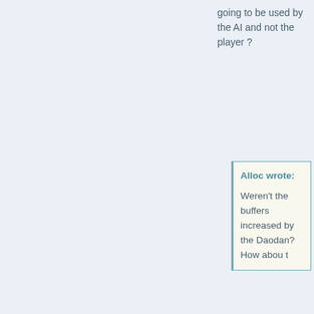going to be used by the AI and not the player ?
Alloc wrote: Weren't the buffers increased by the Daodan? How about